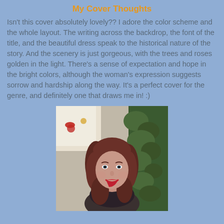My Cover Thoughts
Isn't this cover absolutely lovely?? I adore the color scheme and the whole layout. The writing across the backdrop, the font of the title, and the beautiful dress speak to the historical nature of the story. And the scenery is just gorgeous, with the trees and roses golden in the light. There's a sense of expectation and hope in the bright colors, although the woman's expression suggests sorrow and hardship along the way. It's a perfect cover for the genre, and definitely one that draws me in! :)
[Figure (photo): Portrait photo of a woman with reddish-brown hair, smiling, wearing red lipstick, with a Christmas tree and greenery visible in the background.]